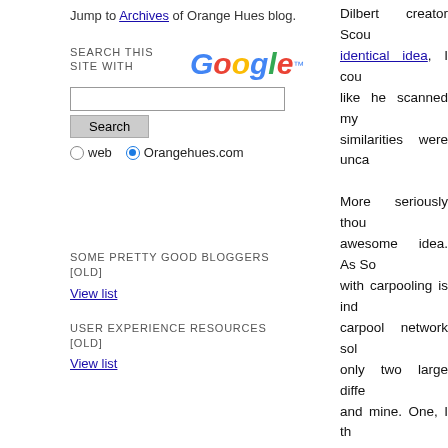Jump to Archives of Orange Hues blog.
[Figure (screenshot): Google search widget with text input, Search button, and radio buttons for 'web' and 'Orangehues.com']
SOME PRETTY GOOD BLOGGERS [OLD]
View list
USER EXPERIENCE RESOURCES [OLD]
View list
Dilbert creator Scot… identical idea, I cou… like he scanned my … similarities were unca…
More seriously thou… awesome idea. As So… with carpooling is in… carpool network solv… only two large diffe… and mine. One, I th… effective but I don't t… Second, I conceived … by buyers and sellers… system very credible.
P.S: How does the ne… from this? Scott hasn… thought Google shou… make money the sa… from advertising. Sin… are going, they can s… retailers and compa… don't like to get ads… Google a small sum t…
Share Your Opinion
link to this post